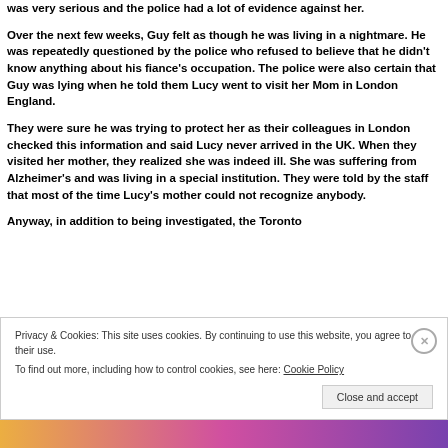was very serious and the police had a lot of evidence against her.
Over the next few weeks, Guy felt as though he was living in a nightmare. He was repeatedly questioned by the police who refused to believe that he didn't know anything about his fiance's occupation. The police were also certain that Guy was lying when he told them Lucy went to visit her Mom in London England.
They were sure he was trying to protect her as their colleagues in London checked this information and said Lucy never arrived in the UK. When they visited her mother, they realized she was indeed ill. She was suffering from Alzheimer's and was living in a special institution. They were told by the staff that most of the time Lucy's mother could not recognize anybody.
Anyway, in addition to being investigated, the Toronto police...
Privacy & Cookies: This site uses cookies. By continuing to use this website, you agree to their use.
To find out more, including how to control cookies, see here: Cookie Policy
Close and accept